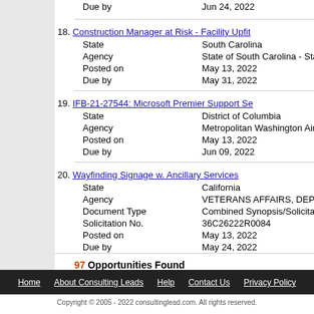Due by  Jun 24, 2022
18. Construction Manager at Risk - Facility Upfit...
State: South Carolina
Agency: State of South Carolina - St...
Posted on: May 13, 2022
Due by: May 31, 2022
19. IFB-21-27544: Microsoft Premier Support Se...
State: District of Columbia
Agency: Metropolitan Washington Air...
Posted on: May 13, 2022
Due by: Jun 09, 2022
20. Wayfinding Signage w. Ancillary Services
State: California
Agency: VETERANS AFFAIRS, DEP...
Document Type: Combined Synopsis/Solicita...
Solicitation No.: 36C26222R0084
Posted on: May 13, 2022
Due by: May 24, 2022
97 Opportunities Found
Home  About Consulting Leads  Help  Contact Us  Privacy Policy
Copyright © 2005 - 2022 consultinglead.com. All rights reserved.